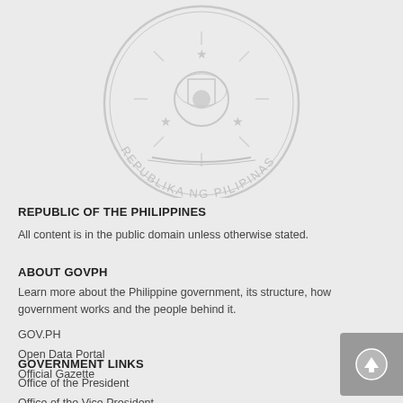[Figure (logo): Philippine government seal - Republika ng Pilipinas coat of arms, partially visible, light gray watermark style]
REPUBLIC OF THE PHILIPPINES
All content is in the public domain unless otherwise stated.
ABOUT GOVPH
Learn more about the Philippine government, its structure, how government works and the people behind it.
GOV.PH
Open Data Portal
Official Gazette
GOVERNMENT LINKS
Office of the President
Office of the Vice President
Senate of the Philippines